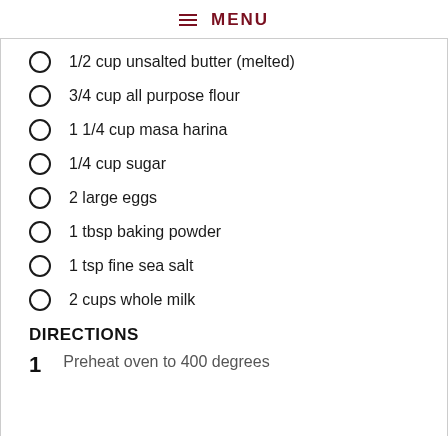MENU
1/2 cup unsalted butter (melted)
3/4 cup all purpose flour
1 1/4 cup masa harina
1/4 cup sugar
2 large eggs
1 tbsp baking powder
1 tsp fine sea salt
2 cups whole milk
DIRECTIONS
Preheat oven to 400 degrees